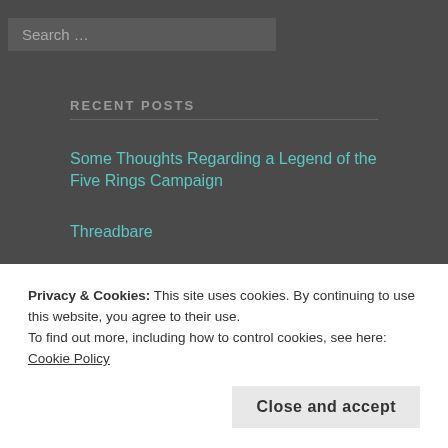Search …
RECENT POSTS
Some Thoughts Regarding a Legend of the Five Rings Campaign
Threadbare
A Robin Hobb Rereading Series: Entry 329: Dragon Keeper, Chapter 14
Privacy & Cookies: This site uses cookies. By continuing to use this website, you agree to their use.
To find out more, including how to control cookies, see here: Cookie Policy
Close and accept